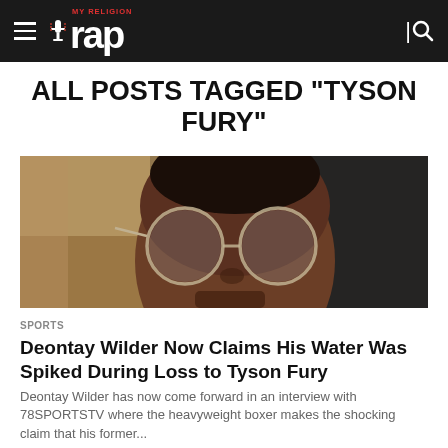MY RELIGION RAP
ALL POSTS TAGGED "TYSON FURY"
[Figure (photo): Close-up photo of Deontay Wilder wearing large round glasses, indoors]
SPORTS
Deontay Wilder Now Claims His Water Was Spiked During Loss to Tyson Fury
Deontay Wilder has now come forward in an interview with 78SPORTSTV where the heavyweight boxer makes the shocking claim that his former...
[Figure (photo): Partial photo of another article, showing a person in a red and blue outfit]